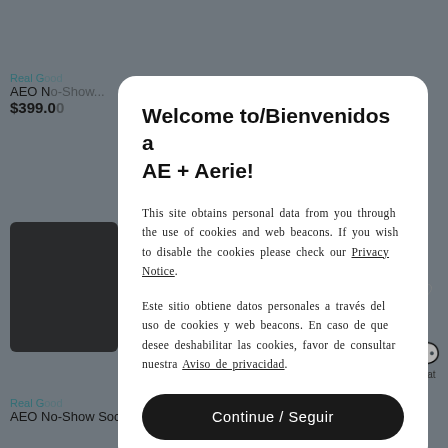[Figure (screenshot): Background of an e-commerce product listing page showing AEO branded socks products, partially obscured by modal overlay]
Welcome to/Bienvenidos a AE + Aerie!
This site obtains personal data from you through the use of cookies and web beacons. If you wish to disable the cookies please check our Privacy Notice.
Este sitio obtiene datos personales a través del uso de cookies y web beacons. En caso de que desee deshabilitar las cookies, favor de consultar nuestra Aviso de privacidad.
Continue / Seguir